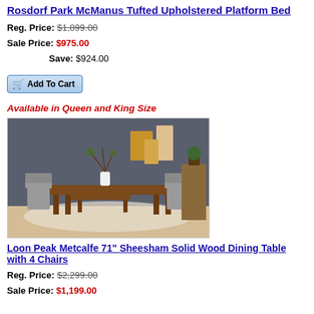Rosdorf Park McManus Tufted Upholstered Platform Bed
Reg. Price: $1,899.00
Sale Price: $975.00
Save: $924.00
[Figure (other): Add To Cart button with shopping cart icon]
Available in Queen and King Size
[Figure (photo): Dining room scene with a solid wood dining table, bench, and upholstered chairs on a patterned rug, against a dark wall with wall art]
Loon Peak Metcalfe 71" Sheesham Solid Wood Dining Table with 4 Chairs
Reg. Price: $2,299.00
Sale Price: $1,199.00